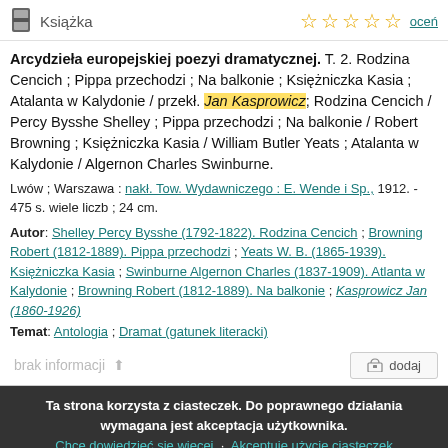Książka
Arcydzieła europejskiej poezyi dramatycznej. T. 2. Rodzina Cencich ; Pippa przechodzi ; Na balkonie ; Księżniczka Kasia ; Atalanta w Kalydonie / przekł. Jan Kasprowicz; Rodzina Cencich / Percy Bysshe Shelley ; Pippa przechodzi ; Na balkonie / Robert Browning ; Księżniczka Kasia / William Butler Yeats ; Atalanta w Kalydonie / Algernon Charles Swinburne.
Lwów ; Warszawa : nakł. Tow. Wydawniczego : E. Wende i Sp., 1912. - 475 s. wiele liczb ; 24 cm.
Autor: Shelley Percy Bysshe (1792-1822). Rodzina Cencich ; Browning Robert (1812-1889). Pippa przechodzi ; Yeats W. B. (1865-1939). Księżniczka Kasia ; Swinburne Algernon Charles (1837-1909). Atlanta w Kalydonie ; Browning Robert (1812-1889). Na balkonie ; Kasprowicz Jan (1860-1926)
Temat: Antologia ; Dramat (gatunek literacki)
brak informacji
Ta strona korzysta z ciasteczek. Do poprawnego działania wymagana jest akceptacja użytkownika. Chcę dowiedzieć się więcej · Akceptuję użycie ciasteczek